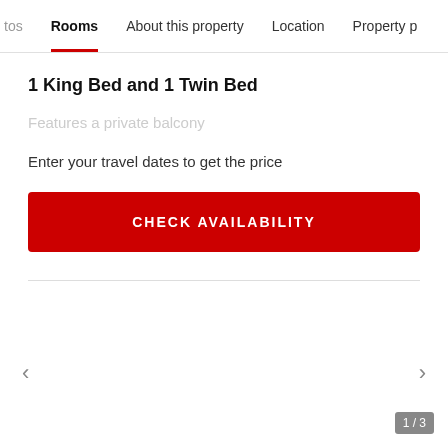tos  Rooms  About this property  Location  Property p
1 King Bed and 1 Twin Bed
Features a private balcony
Enter your travel dates to get the price
CHECK AVAILABILITY
‹
›
1/3